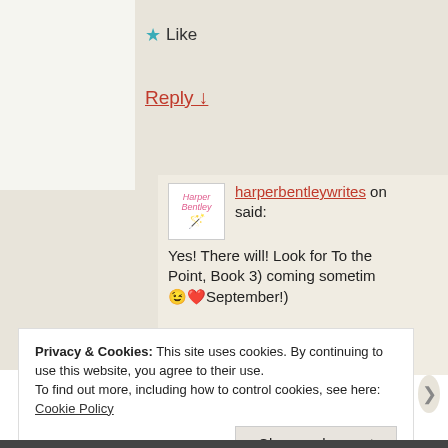★ Like
Reply ↓
harperbentleywrites on said:
Yes! There will! Look for To the Point, Book 3) coming sometim 😉❤️September!)
★ Like
Privacy & Cookies: This site uses cookies. By continuing to use this website, you agree to their use.
To find out more, including how to control cookies, see here:
Cookie Policy
Close and accept